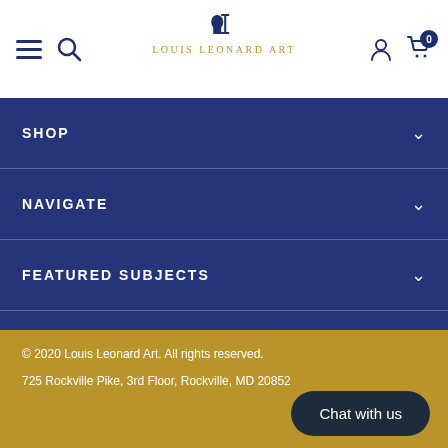[Figure (logo): Louis Leonard Art logo with silhouette bust and serif wordmark in gold]
SHOP
NAVIGATE
FEATURED SUBJECTS
© 2020 Louis Leonard Art. All rights reserved.
725 Rockville Pike, 3rd Floor, Rockville, MD 20852